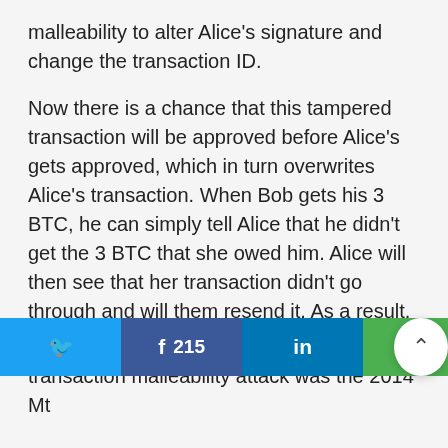malleability to alter Alice's signature and change the transaction ID.
Now there is a chance that this tampered transaction will be approved before Alice's gets approved, which in turn overwrites Alice's transaction. When Bob gets his 3 BTC, he can simply tell Alice that he didn't get the 3 BTC that she owed him. Alice will then see that her transaction didn't go through and will them resend it. As a result, Bob will end up with 6 BTC instead of 3 BTC.
One of the most famous example of the transaction malleability attack was the 2014 Mt